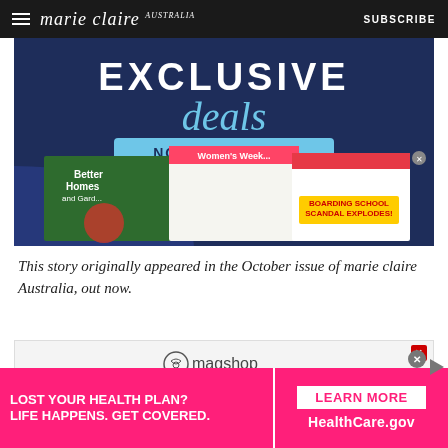marie claire  SUBSCRIBE
[Figure (illustration): Advertisement banner showing magazine covers for Better Homes and Gardens, Women's Weekly, and Woman's Day with text 'EXCLUSIVE deals NOW AVAILABLE']
This story originally appeared in the October issue of marie claire Australia, out now.
[Figure (logo): Magshop advertisement banner with circular smiley icon and 'magshop' text]
[Figure (infographic): Bottom advertisement: 'LOST YOUR HEALTH PLAN? LIFE HAPPENS. GET COVERED.' on pink background with 'LEARN MORE' button and 'HealthCare.gov' branding]